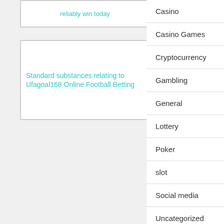reliably win today
Standard substances relating to Ufagoal168 Online Football Betting
Casino
Casino Games
Cryptocurrency
Gambling
General
Lottery
Poker
slot
Social media
Uncategorized
Virtual